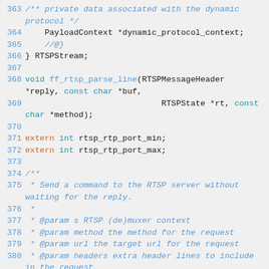363    /** private data associated with the dynamic protocol */
364        PayloadContext *dynamic_protocol_context;
365        //@}
366    } RTSPStream;
367
368    void ff_rtsp_parse_line(RTSPMessageHeader *reply, const char *buf,
369                                            RTSPState *rt, const char *method);
370
371    extern int rtsp_rtp_port_min;
372    extern int rtsp_rtp_port_max;
373
374    /**
375     * Send a command to the RTSP server without waiting for the reply.
376     *
377     * @param s RTSP (de)muxer context
378     * @param method the method for the request
379     * @param url the target url for the request
380     * @param headers extra header lines to include in the request
381     * @param send_content if non-null, the data to send as request body content